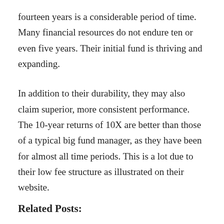fourteen years is a considerable period of time. Many financial resources do not endure ten or even five years. Their initial fund is thriving and expanding.
In addition to their durability, they may also claim superior, more consistent performance. The 10-year returns of 10X are better than those of a typical big fund manager, as they have been for almost all time periods. This is a lot due to their low fee structure as illustrated on their website.
Related Posts: